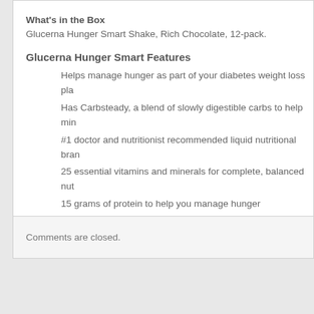What's in the Box
Glucerna Hunger Smart Shake, Rich Chocolate, 12-pack.
Glucerna Hunger Smart Features
Helps manage hunger as part of your diabetes weight loss pla...
Has Carbsteady, a blend of slowly digestible carbs to help min...
#1 doctor and nutritionist recommended liquid nutritional bran...
25 essential vitamins and minerals for complete, balanced nut...
15 grams of protein to help you manage hunger
Comments are closed.